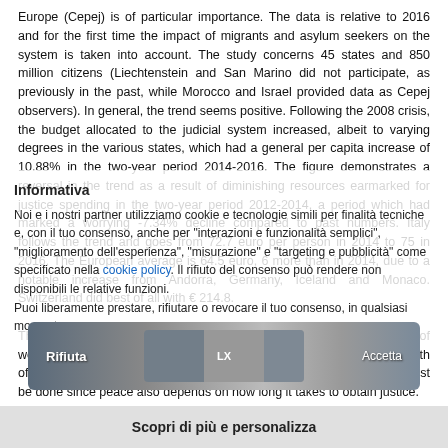Europe (Cepej) is of particular importance. The data is relative to 2016 and for the first time the impact of migrants and asylum seekers on the system is taken into account. The study concerns 45 states and 850 million citizens (Liechtenstein and San Marino did not participate, as previously in the past, while Morocco and Israel provided data as Cepej observers). In general, the trend seems positive. Following the 2008 crisis, the budget allocated to the judicial system increased, albeit to varying degrees in the various states, which had a general per capita increase of 10.88% in the two-year period 2014-2016. The figure demonstrates a reversal in the trend as a result of diminishing resources earmarked for justice spending in the two-year period 2012-2014, a period which had marked a worrying -7.34% decline compared to past numbers. Italy follows the trend and goes from 72.7 euro per person in 2014 to 75 in 2016. The European average is 64.5 euro, 6 more than in 2014, due to a notable increase from Andorra, Germany, Iceland and Monaco. Switzerland did best of all with € 214.8. The report is extensive and analyzes personnel costs, the percentage of women among magistrates, the overabundance of lawyers, and the length of proceedings. There are many numbers to keep an eye on, but it must be done since peace also depends on how long it takes to obtain justice.
[Figure (screenshot): Cookie consent overlay in Italian with Rifiuta (Reject) button and a stylized image banner showing artistic imagery]
Scopri di più e personalizza